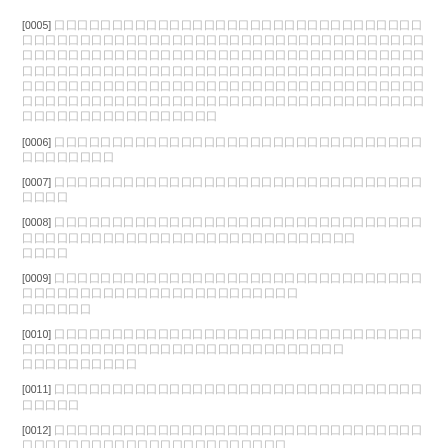[0005] 囗囗囗囗囗囗囗囗囗囗囗囗囗囗囗囗囗囗囗囗囗囗囗囗囗囗囗囗囗囗囗囗囗囗囗囗囗囗囗囗囗囗囗囗囗囗囗囗囗囗囗囗囗囗囗囗囗囗囗囗囗囗囗囗囗囗囗囗囗囗囗囗囗囗囗囗囗囗囗囗囗囗囗囗囗囗囗囗囗囗囗囗囗囗囗囗囗囗囗囗囗囗囗囗囗囗囗囗囗囗囗囗囗囗囗囗囗囗囗囗囗囗囗囗囗囗囗囗囗囗囗囗囗囗囗囗囗囗囗囗囗囗囗囗囗囗囗囗囗囗囗囗囗囗囗囗囗囗囗囗囗囗囗囗囗囗囗囗囗囗囗囗囗囗囗囗囗囗囗囗囗囗囗囗囗囗囗囗囗囗囗囗囗囗囗囗囗囗囗囗囗囗囗囗囗囗囗囗囗囗囗囗囗囗囗囗囗囗囗囗囗囗囗囗
[0006] 囗囗囗囗囗囗囗囗囗囗囗囗囗囗囗囗囗囗囗囗囗囗囗囗囗囗囗囗囗囗囗囗囗囗囗囗囗囗囗囗
[0007] 囗囗囗囗囗囗囗囗囗囗囗囗囗囗囗囗囗囗囗囗囗囗囗囗囗囗囗囗囗囗囗囗囗囗囗囗
[0008] 囗囗囗囗囗囗囗囗囗囗囗囗囗囗囗囗囗囗囗囗囗囗囗囗囗囗囗囗囗囗囗囗囗囗囗囗囗囗囗囗囗囗囗囗囗囗囗囗囗囗囗囗囗囗囗囗囗囗囗囗囗 囗囗囗囗
[0009] 囗囗囗囗囗囗囗囗囗囗囗囗囗囗囗囗囗囗囗囗囗囗囗囗囗囗囗囗囗囗囗囗囗囗囗囗囗囗囗囗囗囗囗囗囗囗囗囗囗囗囗囗囗囗囗囗 囗囗囗囗囗囗
[0010] 囗囗囗囗囗囗囗囗囗囗囗囗囗囗囗囗囗囗囗囗囗囗囗囗囗囗囗囗囗囗囗囗囗囗囗囗囗囗囗囗囗囗囗囗囗囗囗囗囗囗囗囗囗囗囗囗囗囗囗囗 囗囗囗囗囗囗囗囗囗囗
[0011] 囗囗囗囗囗囗囗囗囗囗囗囗囗囗囗囗囗囗囗囗囗囗囗囗囗囗囗囗囗囗囗囗囗囗囗囗囗
[0012] 囗囗囗囗囗囗囗囗囗囗囗囗囗囗囗囗囗囗囗囗囗囗囗囗囗囗囗囗囗囗囗囗囗囗囗囗囗囗囗囗囗囗囗囗囗囗囗囗囗囗囗囗囗囗囗 囗囗囗囗囗囗囗
[0013] 囗囗囗囗囗囗囗囗囗 囗囗囗囗囗囗囗囗囗囗囗囗囗囗囗囗囗囗囗囗囗囗囗囗囗囗囗囗囗囗囗囗囗囗囗囗囗囗囗囗囗囗囗囗